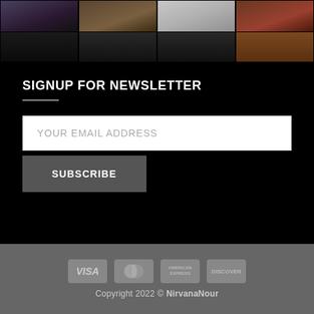[Figure (photo): Grid of 8 fashion photos showing people in various outfits, arranged in 2 rows of 4]
SIGNUP FOR NEWSLETTER
YOUR EMAIL ADDRESS
SUBSCRIBE
[Figure (infographic): Payment method icons: VISA, MasterCard, American Express, Discover]
Copyright 2022 © NirvanaNour